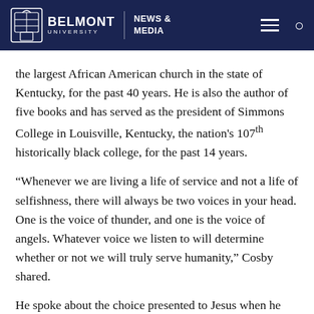Belmont University | News & Media
the largest African American church in the state of Kentucky, for the past 40 years. He is also the author of five books and has served as the president of Simmons College in Louisville, Kentucky, the nation's 107th historically black college, for the past 14 years.
“Whenever we are living a life of service and not a life of selfishness, there will always be two voices in your head. One is the voice of thunder, and one is the voice of angels. Whatever voice we listen to will determine whether or not we will truly serve humanity,” Cosby shared.
He spoke about the choice presented to Jesus when he was given the opportunity to escape death and flee to Athens or stay to be crucified in Jerusalem to sacrifice himself. By